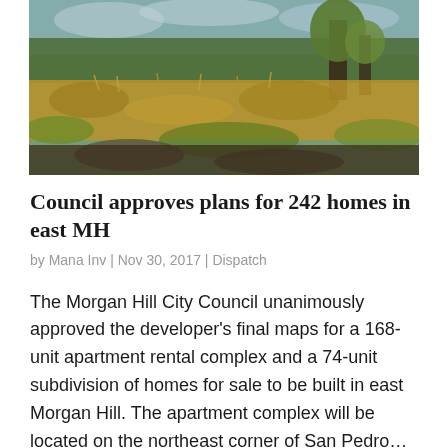[Figure (photo): Outdoor landscape photo showing a field with dry golden grass, green patches, muddy areas, and trees in the background under a partly cloudy sky.]
Council approves plans for 242 homes in east MH
by Mana Inv | Nov 30, 2017 | Dispatch
The Morgan Hill City Council unanimously approved the developer's final maps for a 168-unit apartment rental complex and a 74-unit subdivision of homes for sale to be built in east Morgan Hill. The apartment complex will be located on the northeast corner of San Pedro…